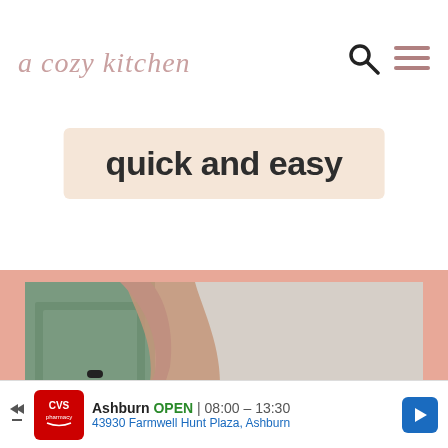a cozy kitchen
quick and easy
[Figure (photo): A hand resting on a marble kitchen counter, with a pink frosted cake slice topped with strawberries on a pink plate, and a coffee drink partially visible on the right.]
Ashburn OPEN | 08:00 - 13:30 43930 Farmwell Hunt Plaza, Ashburn